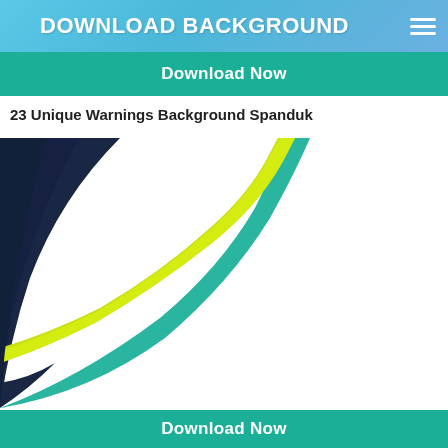DOWNLOAD BACKGROUND
Download Now
23 Unique Warnings Background Spanduk
[Figure (illustration): A decorative background graphic with dark navy blue on the left side, a bold yellow-green (lime) curved wave sweeping from top-left down to bottom-center, a teal/green accent stripe alongside the lime wave, and a large white area on the right. The curves sweep in a fluid arc suggesting motion.]
Download Now